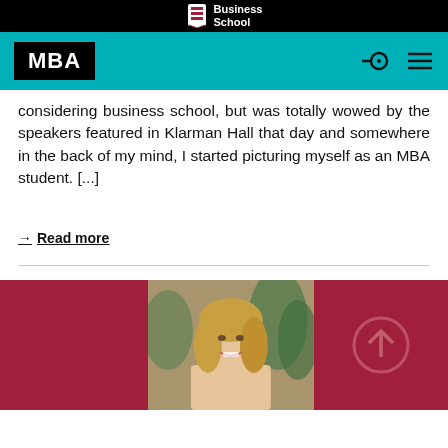Harvard Business School MBA
considering business school, but was totally wowed by the speakers featured in Klarman Hall that day and somewhere in the back of my mind, I started picturing myself as an MBA student. [...]
→ Read more
[Figure (photo): Portrait photo of a young woman with blonde wavy hair, smiling, against a background with green plants. The image is set against a dark red/crimson banner with an upward arrow circle icon on the right side.]